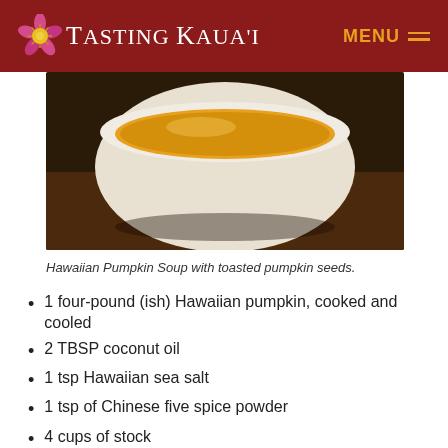Tasting Kaua'i — MENU
[Figure (photo): Close-up photo of a bowl of Hawaiian Pumpkin Soup with a creamy golden-orange color, viewed from above, with a white rim visible.]
Hawaiian Pumpkin Soup with toasted pumpkin seeds.
1 four-pound (ish) Hawaiian pumpkin, cooked and cooled
2 TBSP coconut oil
1 tsp Hawaiian sea salt
1 tsp of Chinese five spice powder
4 cups of stock
4 TBSP pumpkin seeds, toasted (recipe below)
Preheat a 2 quart pot over medium heat. Slice one onion and add it to the pot with coconut oil. Add salt,